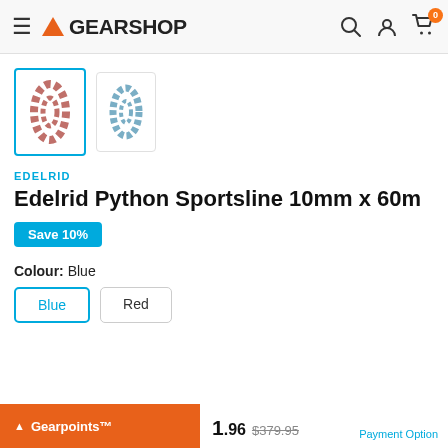GEARSHOP
[Figure (photo): Two product thumbnail images of climbing ropes - first selected with blue border showing a red/pink coiled rope, second showing a blue coiled rope]
EDELRID
Edelrid Python Sportsline 10mm x 60m
Save 10%
Colour: Blue
Blue  Red
Gearpoints™
$1.96  $379.95  Payment Option